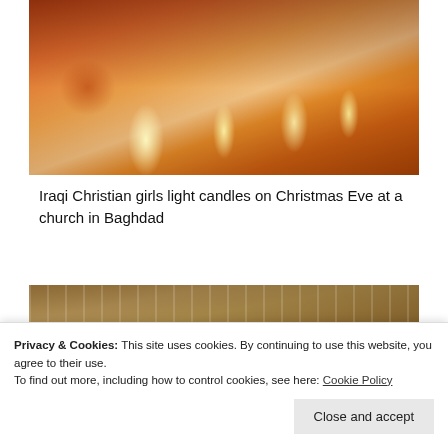[Figure (photo): Iraqi Christian girls lighting candles on Christmas Eve at a church in Baghdad, warm orange and golden tones from candlelight]
Iraqi Christian girls light candles on Christmas Eve at a church in Baghdad
[Figure (photo): Interior of a church showing wooden beam ceiling with radiating rafters and horizontal blinds or louvers letting in light]
Privacy & Cookies: This site uses cookies. By continuing to use this website, you agree to their use.
To find out more, including how to control cookies, see here: Cookie Policy
Close and accept